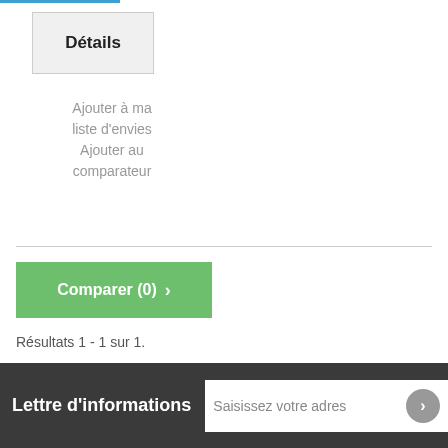Détails
Ajouter à ma liste d'envies
Ajouter au comparateur
Comparer (0) ›
Résultats 1 - 1 sur 1.
Lettre d'informations  Saisissez votre adres